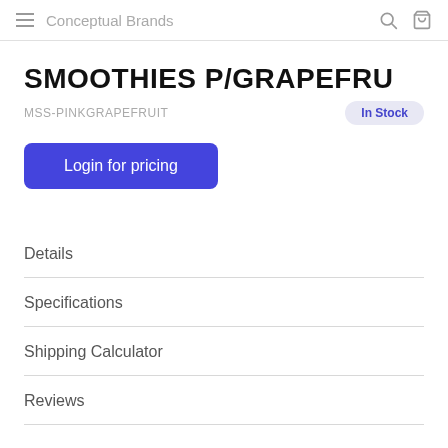Conceptual Brands
SMOOTHIES P/GRAPEFRU
MSS-PINKGRAPEFRUIT
In Stock
Login for pricing
Details
Specifications
Shipping Calculator
Reviews